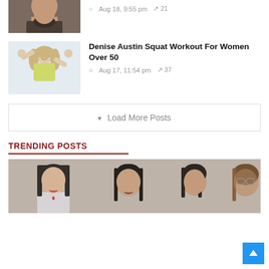[Figure (photo): Partial image of a bearded man, cropped at top]
Aug 18, 9:55 pm  ↗ 21
[Figure (photo): Woman in yellow top flexing her arms and smiling]
Denise Austin Squat Workout For Women Over 50
Aug 17, 11:54 pm  ↗ 37
▾  Load More Posts
TRENDING POSTS
[Figure (photo): Group of young girls/women with dark hair, some wearing glasses, partial image at bottom of page]